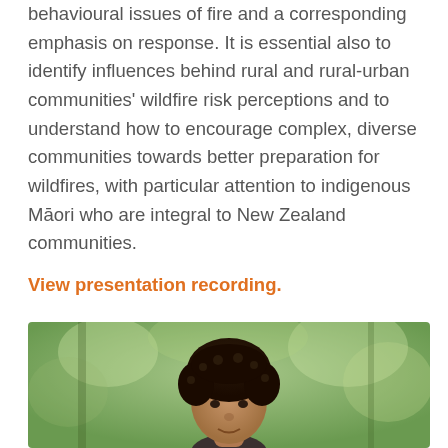behavioural issues of fire and a corresponding emphasis on response. It is essential also to identify influences behind rural and rural-urban communities' wildfire risk perceptions and to understand how to encourage complex, diverse communities towards better preparation for wildfires, with particular attention to indigenous Māori who are integral to New Zealand communities.
View presentation recording.
[Figure (photo): Portrait photo of a person with dark curly hair, outdoors with green blurred trees in the background]